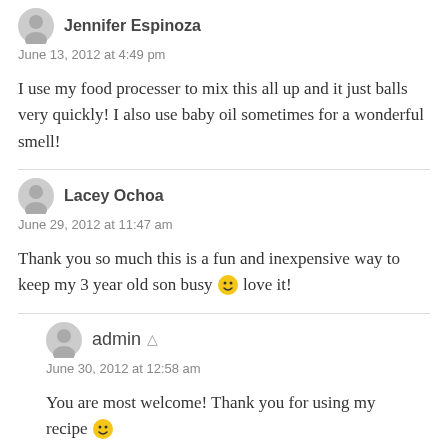Jennifer Espinoza
June 13, 2012 at 4:49 pm
I use my food processer to mix this all up and it just balls very quickly! I also use baby oil sometimes for a wonderful smell!
Lacey Ochoa
June 29, 2012 at 11:47 am
Thank you so much this is a fun and inexpensive way to keep my 3 year old son busy 🙂 love it!
admin
June 30, 2012 at 12:58 am
You are most welcome! Thank you for using my recipe 🙂